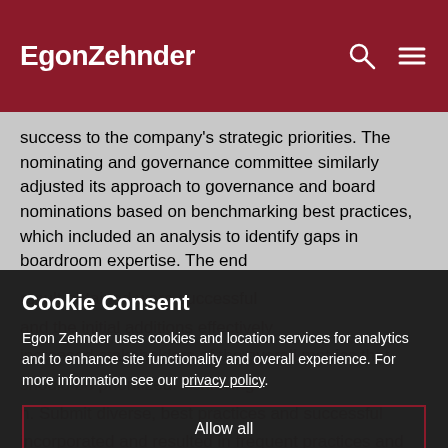EgonZehnder
success to the company's strategic priorities. The nominating and governance committee similarly adjusted its approach to governance and board nominations based on benchmarking best practices, which included an analysis to identify gaps in boardroom expertise. The end
Cookie Consent
Egon Zehnder uses cookies and location services for analytics and to enhance site functionality and overall experience. For more information see our privacy policy.
Allow all
Show details